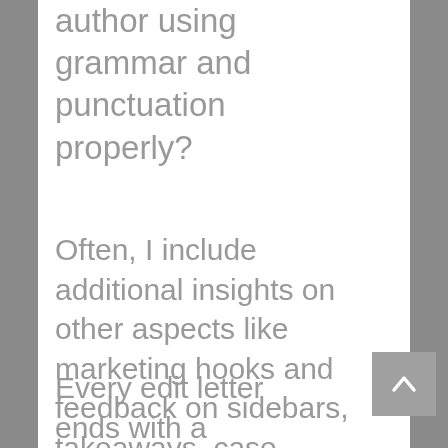author using grammar and punctuation properly?
Often, I include additional insights on other aspects like marketing hooks and feedback on sidebars, takeaways, case studies, or back matter (appendices, footnotes, etc.).
Every edit letter ends with a summary and next steps.